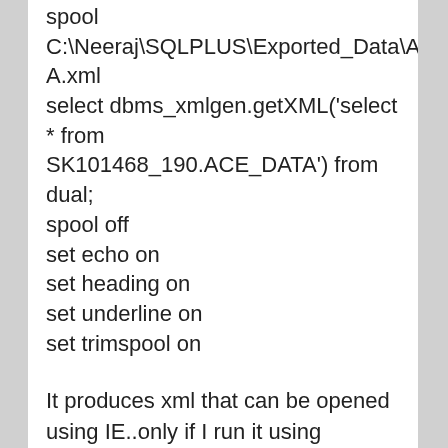spool
C:\Neeraj\SQLPLUS\Exported_Data\ACE_DATA.xml
select dbms_xmlgen.getXML('select * from SK101468_190.ACE_DATA') from dual;
spool off
set echo on
set heading on
set underline on
set trimspool on
It produces xml that can be opened using IE..only if I run it using PL/SQL developer..when I run it using SQL*Plus..it produces xml..but IE throws an error when opening this xml..at somepoint...showing the